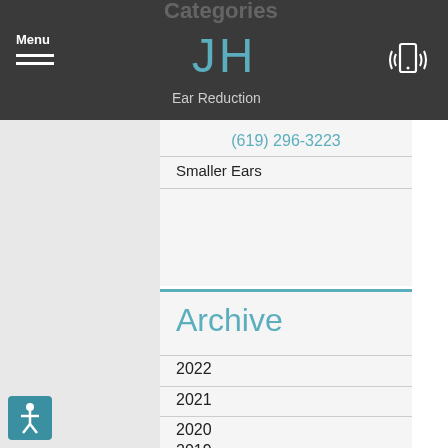Menu | JH | (phone icon)
Categories
Ear Reduction
(619) 296-3223
Smaller Ears
Archive
2022
2021
2020
2019